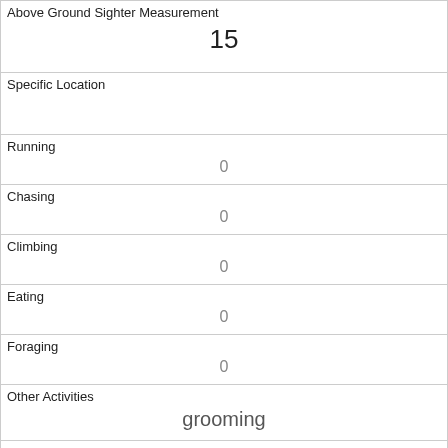| Above Ground Sighter Measurement | 15 |
| Specific Location |  |
| Running | 0 |
| Chasing | 0 |
| Climbing | 0 |
| Eating | 0 |
| Foraging | 0 |
| Other Activities | grooming |
| Kuks | 0 |
| Quaas | 0 |
| Moans |  |